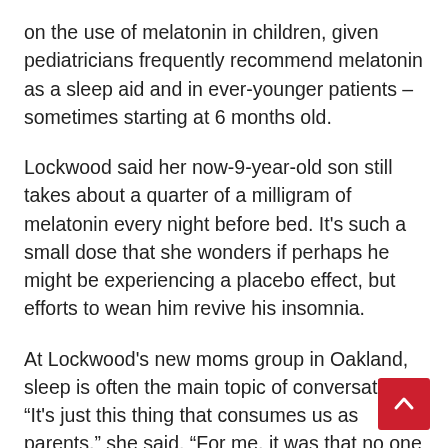on the use of melatonin in children, given pediatricians frequently recommend melatonin as a sleep aid and in ever-younger patients – sometimes starting at 6 months old.
Lockwood said her now-9-year-old son still takes about a quarter of a milligram of melatonin every night before bed. It's such a small dose that she wonders if perhaps he might be experiencing a placebo effect, but efforts to wean him revive his insomnia.
At Lockwood's new moms group in Oakland, sleep is often the main topic of conversation. “It's just this thing that consumes us as parents,” she said. “For me, it was that no one was helping me and no one had the answer.”